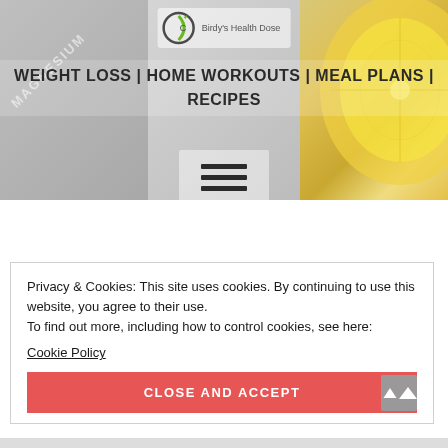[Figure (screenshot): Website header banner with three image panels: left showing magnesium supplement imagery, center showing food/recipe imagery with hamburger menu icon, right showing sliced lemon. Logo for Birdy's Health Dose visible at top center.]
WEIGHT LOSS | HOME WORKOUTS | MEAL PLANS | RECIPES
Privacy & Cookies: This site uses cookies. By continuing to use this website, you agree to their use.
To find out more, including how to control cookies, see here:
Cookie Policy
CLOSE AND ACCEPT